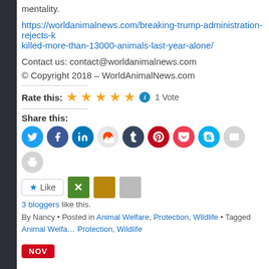mentality.
https://worldanimalnews.com/breaking-trump-administration-rejects-b killed-more-than-13000-animals-last-year-alone/
Contact us: contact@worldanimalnews.com
© Copyright 2018 – WorldAnimalNews.com
Rate this: ★★★★★ ℹ 1 Vote
Share this:
[Figure (infographic): Social sharing buttons: Twitter, Facebook, LinkedIn, Reddit, Tumblr, Pinterest, Pocket, Skype, Email, Print]
Like
3 bloggers like this.
By Nancy • Posted in Animal Welfare, Protection, Wildlife • Tagged Animal Welfare, Protection, Wildlife